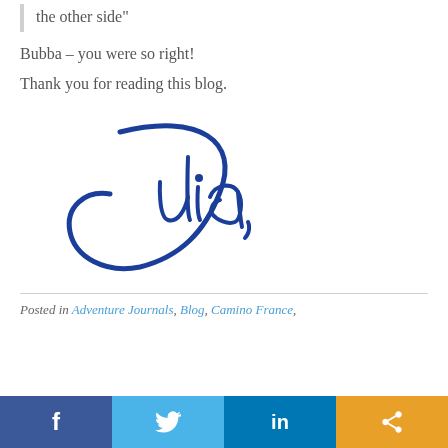the other side"
Bubba – you were so right!
Thank you for reading this blog.
[Figure (illustration): Handwritten signature reading 'Julia' in blue ink]
Posted in Adventure Journals, Blog, Camino France,
[Figure (infographic): Social share bar with Facebook, Twitter, LinkedIn, and share buttons]